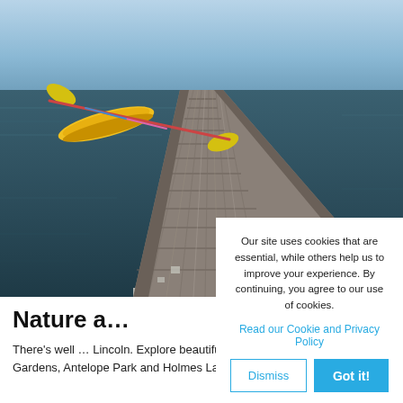[Figure (photo): A wooden dock extending over a calm lake with a yellow kayak and yellow paddles floating on the water to the left side of the dock. The water is dark and reflective. Perspective view from the near end of the dock.]
Nature a…
There's well … Lincoln. Explore beautiful venues such as the Sunken Gardens, Antelope Park and Holmes Lake Park…
Our site uses cookies that are essential, while others help us to improve your experience. By continuing, you agree to our use of cookies.
Read our Cookie and Privacy Policy
Dismiss
Got it!